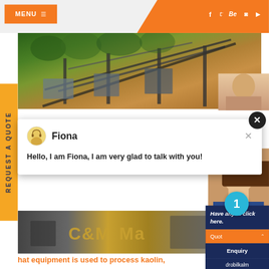[Figure (screenshot): Website screenshot showing a mining/industrial equipment company webpage with orange navigation bar, hero image of mining conveyor equipment, a chat popup from 'Fiona', and sidebar elements including 'REQUEST A QUOTE', notification badge, quote/enquiry buttons]
MENU ≡
Fiona
Hello, I am Fiona, I am very glad to talk with you!
hat equipment is used to process kaolin,
quipment Used To Process Kaolin The proc features the separation of kaolin from quart dry and wet processing The plant equipmen of: Mining equipment, crusher, roller with cl
REQUEST A QUOTE
Have any messages, click here.
Quote
Enquiry
drobilkalm